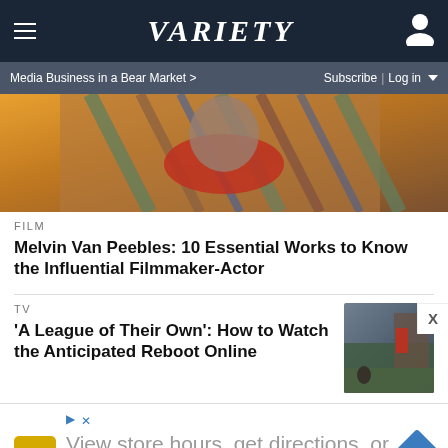Variety
Media Business in a Bear Market >
Subscribe | Log in
[Figure (photo): Close-up photo of person in colorful striped outfit with orange background]
FILM
Melvin Van Peebles: 10 Essential Works to Know the Influential Filmmaker-Actor
TV
'A League of Their Own': How to Watch the Anticipated Reboot Online
[Figure (photo): Photo of baseball players on a field]
[Figure (other): Advertisement: View store hours, get directions, or call your salon! with HC logo and navigation icon]